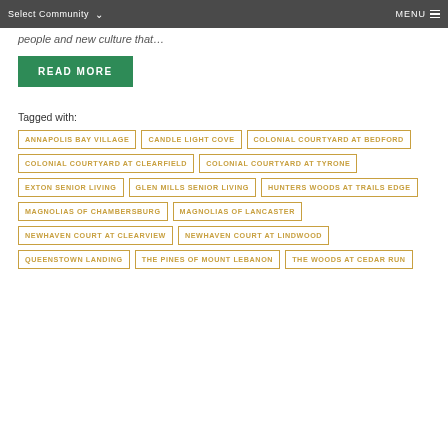Select Community | MENU
people and new culture that…
READ MORE
Tagged with:
ANNAPOLIS BAY VILLAGE
CANDLE LIGHT COVE
COLONIAL COURTYARD AT BEDFORD
COLONIAL COURTYARD AT CLEARFIELD
COLONIAL COURTYARD AT TYRONE
EXTON SENIOR LIVING
GLEN MILLS SENIOR LIVING
HUNTERS WOODS AT TRAILS EDGE
MAGNOLIAS OF CHAMBERSBURG
MAGNOLIAS OF LANCASTER
NEWHAVEN COURT AT CLEARVIEW
NEWHAVEN COURT AT LINDWOOD
QUEENSTOWN LANDING
THE PINES OF MOUNT LEBANON
THE WOODS AT CEDAR RUN